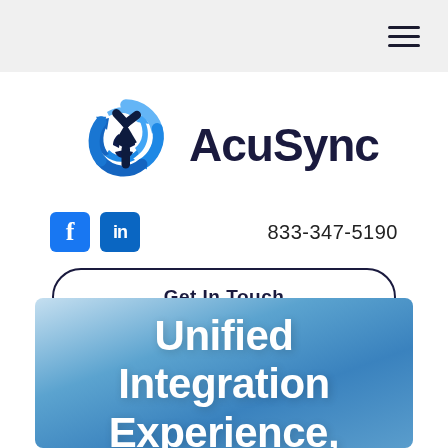Navigation bar with hamburger menu
[Figure (logo): AcuSync logo: three interlocking blue and dark navy arrows forming a circular sync symbol, with the text 'AcuSync' in bold dark navy to the right]
833-347-5190
Get In Touch
Unified Integration Experience, Designed to